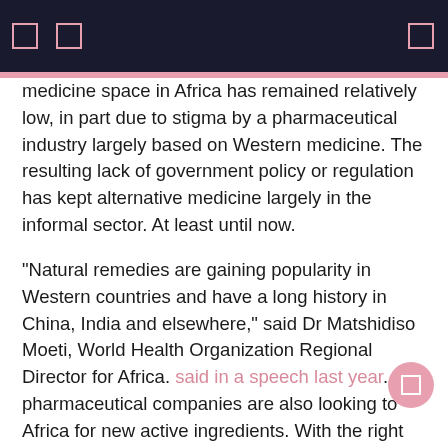[ ] [ ]   [search icon]
medicine space in Africa has remained relatively low, in part due to stigma by a pharmaceutical industry largely based on Western medicine. The resulting lack of government policy or regulation has kept alternative medicine largely in the informal sector. At least until now.
“Natural remedies are gaining popularity in Western countries and have a long history in China, India and elsewhere,” said Dr Matshidiso Moeti, World Health Organization Regional Director for Africa. said in a speech last year. “Big pharmaceutical companies are also looking to Africa for new active ingredients. With the right partnerships and the right investments, proven African traditional medicines could find a vast global market.
The cheat sheet